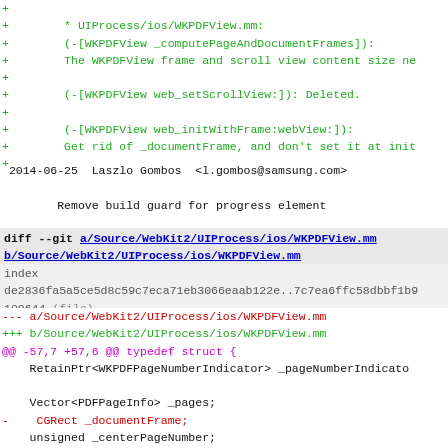diff --git content and code diff showing removal of _documentFrame from WKPDFView
2014-06-25  Laszlo Gombos  <l.gombos@samsung.com>

        Remove build guard for progress element
diff --git a/Source/WebKit2/UIProcess/ios/WKPDFView.mm b/Source/WebKit2/UIProcess/ios/WKPDFView.mm
index de2836fa5a5ce5d8c59c7eca71eb3066eaab122e..7c7ea6ffc58dbbf1b9
100644 (file)
--- a/Source/WebKit2/UIProcess/ios/WKPDFView.mm
+++ b/Source/WebKit2/UIProcess/ios/WKPDFView.mm
@@ -57,7 +57,6 @@ typedef struct {
     RetainPtr<WKPDFPageNumberIndicator> _pageNumberIndicato

     Vector<PDFPageInfo> _pages;
-    CGRect _documentFrame;
     unsigned _centerPageNumber;

     CGSize _minimumSize;
@@ -79,7 +78,6 @@ typedef struct {
     _scrollView = webView.scrollView;